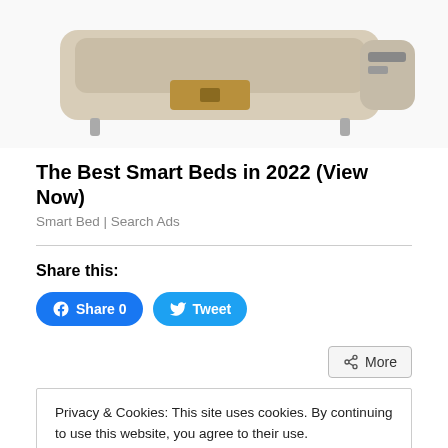[Figure (photo): Product photo of a smart bed with drawer open, beige/tan color, partial view cropped at top]
The Best Smart Beds in 2022 (View Now)
Smart Bed | Search Ads
Share this:
[Figure (screenshot): Facebook Share button with count 0 and Twitter Tweet button]
[Figure (screenshot): More share button with share icon]
Privacy & Cookies: This site uses cookies. By continuing to use this website, you agree to their use.
To find out more, including how to control cookies, see here: Cookie Policy
Close and accept
[Figure (photo): Partial view of a person's head at bottom of page]